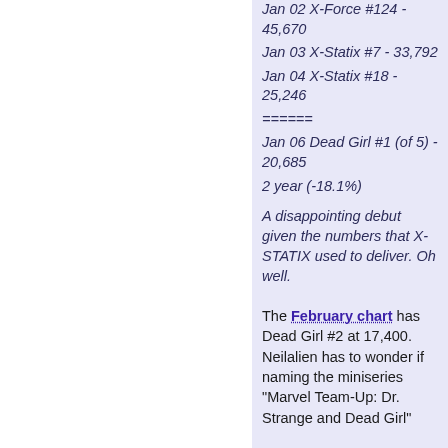Jan 02 X-Force #124 - 45,670
Jan 03 X-Statix #7 - 33,792
Jan 04 X-Statix #18 - 25,246
======
Jan 06 Dead Girl #1 (of 5) - 20,685
2 year (-18.1%)
A disappointing debut given the numbers that X-STATIX used to deliver. Oh well.
The February chart has Dead Girl #2 at 17,400. Neilalien has to wonder if naming the miniseries "Marvel Team-Up: Dr. Strange and Dead Girl"